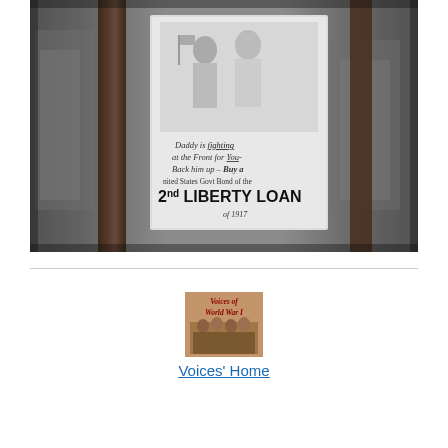[Figure (photo): Black and white photograph showing a WWI-era 2nd Liberty Loan poster attached to a post or tree. The poster depicts two children (a girl and boy in sailor suit) and reads: 'Daddy is fighting at the Front for You - Back him up - Buy a United States Govt Bond of the 2nd LIBERTY LOAN of 1917'. Urban street scene in background.]
[Figure (photo): Small book cover image titled 'Voices of World War I' showing a group photo of soldiers in brown/tan colors.]
Voices' Home